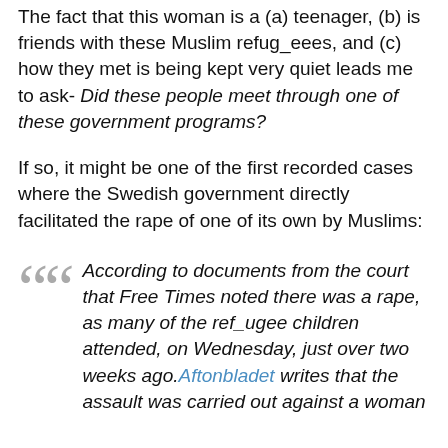The fact that this woman is a (a) teenager, (b) is friends with these Muslim refug_eees, and (c) how they met is being kept very quiet leads me to ask- Did these people meet through one of these government programs?
If so, it might be one of the first recorded cases where the Swedish government directly facilitated the rape of one of its own by Muslims:
According to documents from the court that Free Times noted there was a rape, as many of the ref_ugee children attended, on Wednesday, just over two weeks ago. Aftonbladet writes that the assault was carried out against a woman